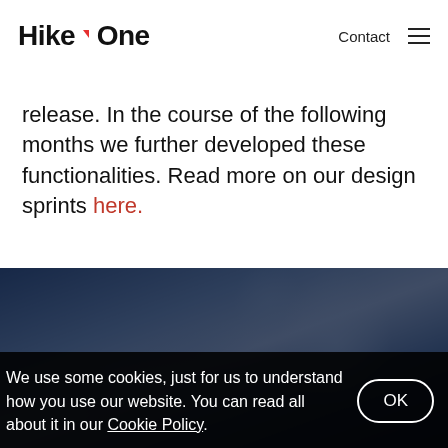Hike One | Contact
release. In the course of the following months we further developed these functionalities. Read more on our design sprints here.
[Figure (photo): Dark blue-tinted photo of a person, likely in a studio or gym setting, seen from behind/side with head turned.]
We use some cookies, just for us to understand how you use our website. You can read all about it in our Cookie Policy.